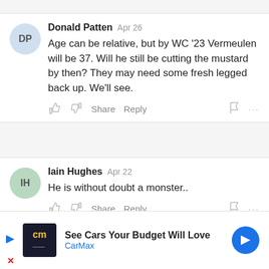Donald Patten Apr 26 — Age can be relative, but by WC '23 Vermeulen will be 37. Will he still be cutting the mustard by then? They may need some fresh legged back up. We'll see.
Iain Hughes Apr 22 — He is without doubt a monster..
Jamie Ferguson → Iain Hughes Apr 22
[Figure (other): CarMax advertisement banner: CarMax logo, 'See Cars Your Budget Will Love', 'CarMax' in blue, navigation arrow icon]